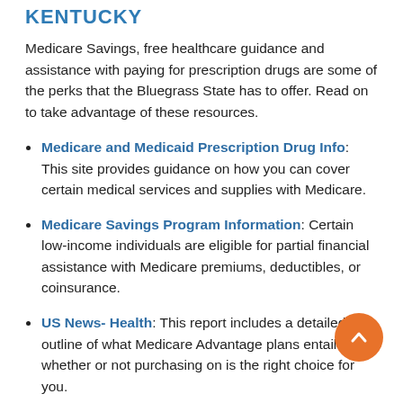KENTUCKY
Medicare Savings, free healthcare guidance and assistance with paying for prescription drugs are some of the perks that the Bluegrass State has to offer. Read on to take advantage of these resources.
Medicare and Medicaid Prescription Drug Info: This site provides guidance on how you can cover certain medical services and supplies with Medicare.
Medicare Savings Program Information: Certain low-income individuals are eligible for partial financial assistance with Medicare premiums, deductibles, or coinsurance.
US News- Health: This report includes a detailed outline of what Medicare Advantage plans entail and whether or not purchasing one is the right choice for you.
Kentucky SHIP: A free service to seniors who